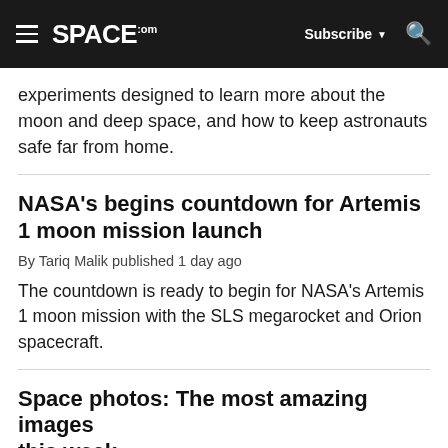SPACE.com — Subscribe — Search
experiments designed to learn more about the moon and deep space, and how to keep astronauts safe far from home.
NASA's begins countdown for Artemis 1 moon mission launch
By Tariq Malik published 1 day ago
The countdown is ready to begin for NASA's Artemis 1 moon mission with the SLS megarocket and Orion spacecraft.
Space photos: The most amazing images this week